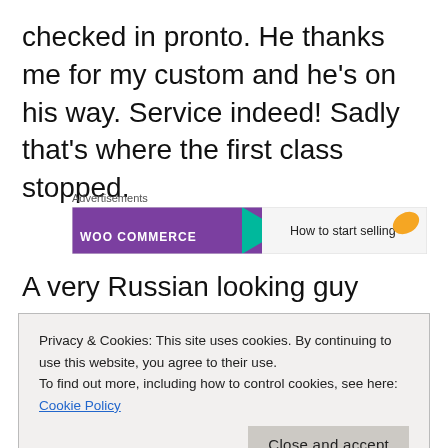checked in pronto. He thanks me for my custom and he's on his way. Service indeed! Sadly that's where the first class stopped.
[Figure (other): WooCommerce advertisement banner: purple background with arrow and text 'How to start selling' with orange leaf decoration]
A very Russian looking guy suddenly pops up, I can't define this thinking but he has a bushy
Privacy & Cookies: This site uses cookies. By continuing to use this website, you agree to their use.
To find out more, including how to control cookies, see here: Cookie Policy
that she's going to need a cigarette ahead of